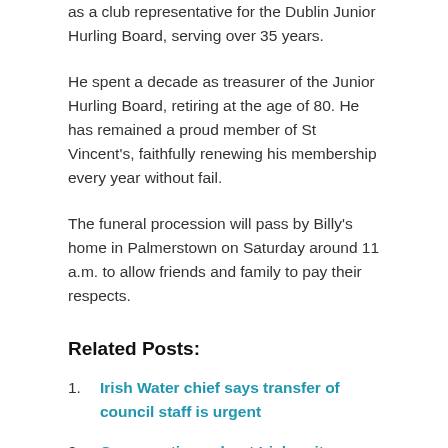as a club representative for the Dublin Junior Hurling Board, serving over 35 years.
He spent a decade as treasurer of the Junior Hurling Board, retiring at the age of 80. He has remained a proud member of St Vincent's, faithfully renewing his membership every year without fail.
The funeral procession will pass by Billy's home in Palmerstown on Saturday around 11 a.m. to allow friends and family to pay their respects.
Related Posts:
Irish Water chief says transfer of council staff is urgent
Conversations about Irish unity moving from the